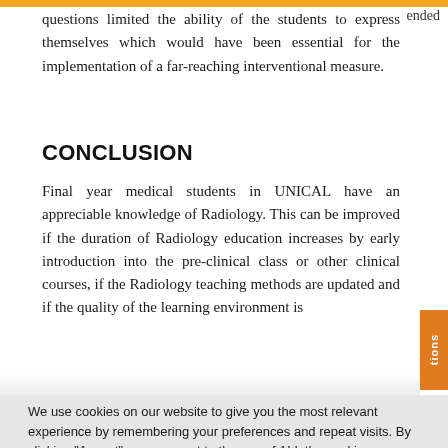ended questions limited the ability of the students to express themselves which would have been essential for the implementation of a far-reaching interventional measure.
CONCLUSION
Final year medical students in UNICAL have an appreciable knowledge of Radiology. This can be improved if the duration of Radiology education increases by early introduction into the pre-clinical class or other clinical courses, if the Radiology teaching methods are updated and if the quality of the learning environment is
We use cookies on our website to give you the most relevant experience by remembering your preferences and repeat visits. By clicking "Accept", you consent to the use of ALL the cookies.
Do not sell my personal information.
Cookie Settings   Accept